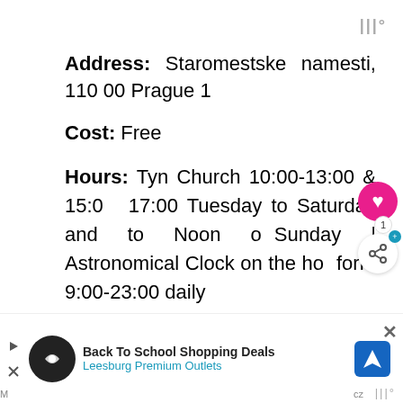Address: Staromestske namesti, 110 00 Prague 1
Cost: Free
Hours: Tyn Church 10:00-13:00 & 15:00-17:00 Tuesday to Saturday and to Noon on Sunday | Astronomical Clock on the hour form 9:00-23:00 daily